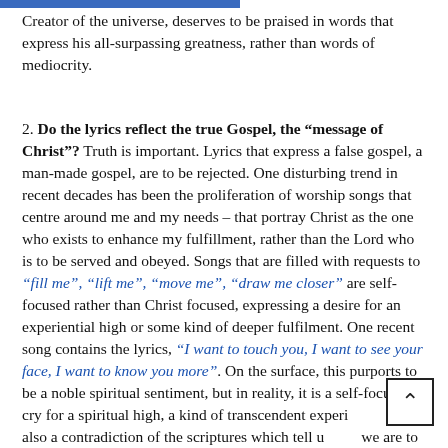Creator of the universe, deserves to be praised in words that express his all-surpassing greatness, rather than words of mediocrity.
2. Do the lyrics reflect the true Gospel, the “message of Christ”? Truth is important. Lyrics that express a false gospel, a man-made gospel, are to be rejected. One disturbing trend in recent decades has been the proliferation of worship songs that centre around me and my needs – that portray Christ as the one who exists to enhance my fulfillment, rather than the Lord who is to be served and obeyed. Songs that are filled with requests to “fill me”, “lift me”, “move me”, “draw me closer” are self-focused rather than Christ focused, expressing a desire for an experiential high or some kind of deeper fulfilment. One recent song contains the lyrics, “I want to touch you, I want to see your face, I want to know you more”. On the surface, this purports to be a noble spiritual sentiment, but in reality, it is a self-focused cry for a spiritual high, a kind of transcendent experience. It is also a contradiction of the scriptures which tell us we are to “walk by faith, not by sight”. The number of